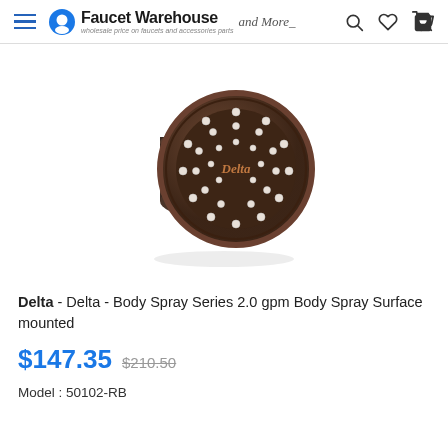Faucet Warehouse and More
[Figure (photo): Dark bronze/oil-rubbed bronze circular body spray shower head with white nozzle dots arranged in a circular pattern and 'Delta' text on face, with cylindrical mounting back]
Delta - Delta - Body Spray Series 2.0 gpm Body Spray Surface mounted
$147.35  $210.50
Model : 50102-RB